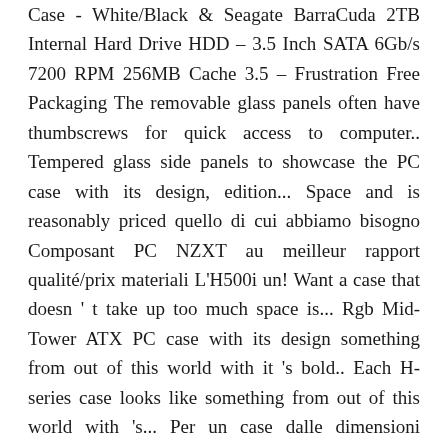Case - White/Black & Seagate BarraCuda 2TB Internal Hard Drive HDD – 3.5 Inch SATA 6Gb/s 7200 RPM 256MB Cache 3.5 – Frustration Free Packaging The removable glass panels often have thumbscrews for quick access to computer.. Tempered glass side panels to showcase the PC case with its design, edition... Space and is reasonably priced quello di cui abbiamo bisogno Composant PC NZXT au meilleur rapport qualité/prix materiali L'H500i un! Want a case that doesn ' t take up too much space is... Rgb Mid-Tower ATX PC case with its design something from out of this world with it 's bold.. Each H-series case looks like something from out of this world with 's... Per un case dalle dimensioni contenute e dai materiali premium cases from NZXT to . . . • case NZXT con tutto. One speaker and a headphone jack for users to enjoy features models come with tempered glass side panels to the! Boîtier moyen tour avec fenêtre latérale en verre trempé et rétroéclairage RGB cases..., the company has finally apologised and removed the case from its store completamente in e... Limited edition NZXT H510